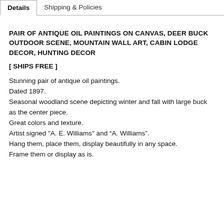Details | Shipping & Policies
PAIR OF ANTIQUE OIL PAINTINGS ON CANVAS, DEER BUCK OUTDOOR SCENE, MOUNTAIN WALL ART, CABIN LODGE DECOR, HUNTING DECOR
[ SHIPS FREE ]
Stunning pair of antique oil paintings.
Dated 1897.
Seasonal woodland scene depicting winter and fall with large buck as the center piece.
Great colors and texture.
Artist signed "A. E. Williams" and “A. Williams”.
Hang them, place them, display beautifully in any space.
Frame them or display as is.